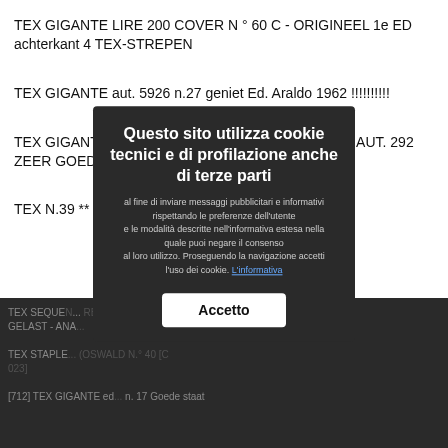TEX GIGANTE LIRE 200 COVER N ° 60 C - ORIGINEEL 1e ED achterkant 4 TEX-STREPEN
TEX GIGANTE aut. 5926 n.27 geniet Ed. Araldo 1962 !!!!!!!!!!
TEX GIGANTE N. 28 NIETJES 200 LIRE 1e UITGAVE AUT. 292 ZEER GOED / UITSTEKEND
TEX N.39 ** ORIGINEEL ** NIETIG **
TEX SEQUE... RBERD - N... GELAST - ANA...
TEX STAPLE... (OSWALD N.° 40 [C 023]
[712] TEX GIGANTE ed... n. 17 Goede staat
Questo sito utilizza cookie tecnici e di profilazione anche di terze parti al fine di inviare messaggi pubblicitari e informativi rispettando le preferenze dell'utente e le modalità descritte nell'informativa estesa nella quale puoi negare il consenso al loro utilizzo. Proseguendo la navigazione accetti l'uso dei cookie. L'informativa